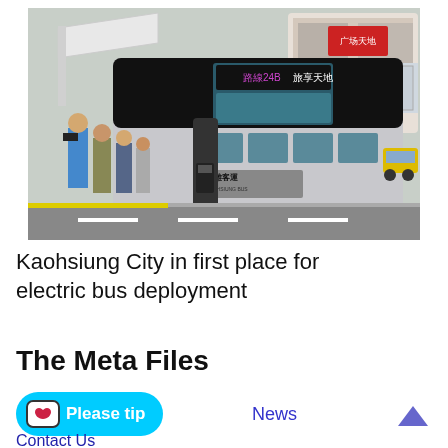[Figure (photo): A modern silver and black double-decker electric bus with Chinese characters displayed on its front marquee sign, parked at a bus stop. A group of people with cameras are photographing it from the left. Urban buildings and trees are visible in the background.]
Kaohsiung City in first place for electric bus deployment
The Meta Files
Please tip  News
Contact Us